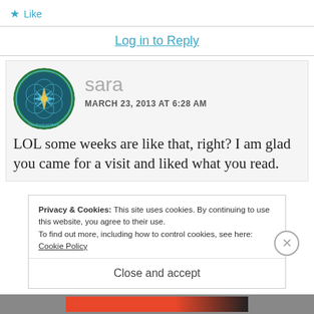★ Like
Log in to Reply
[Figure (logo): Circular logo for The Practical Mystic with geometric flower pattern in blue, green, and gold tones]
sara
MARCH 23, 2013 AT 6:28 AM
LOL some weeks are like that, right? I am glad you came for a visit and liked what you read.
Privacy & Cookies: This site uses cookies. By continuing to use this website, you agree to their use.
To find out more, including how to control cookies, see here: Cookie Policy
Close and accept